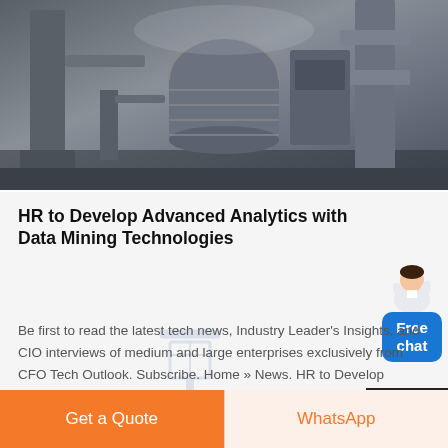[Figure (photo): Industrial machinery/equipment in a factory or warehouse setting, dark metallic tones]
HR to Develop Advanced Analytics with Data Mining Technologies
Be first to read the latest tech news, Industry Leader's Insights, and CIO interviews of medium and large enterprises exclusively from CFO Tech Outlook. Subscribe. Home » News. HR to Develop Advanced Analytics with Data Mining Technologies. ES Outlook | Thursday, June 27, 2019 . Tweet.